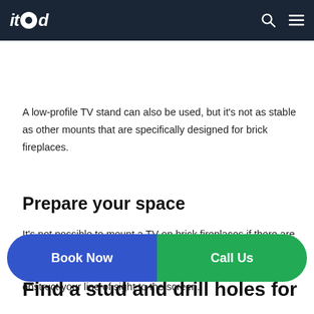itod [logo with gear icon]
mally, tilt cost more than other brackets, though — adding $95 for a ... $200 or more if you need to ... brackets in pairs.
A low-profile TV stand can also be used, but it's not as stable as other mounts that are specifically designed for brick fireplaces.
Prepare your space
It's not possible to mount a TV on brick fireplaces if there are any obstacles in the way. Remove anything that could be an issue, like furniture or plants and other objects that may obstruct your line of sight to the screen.
Book Now
Call Us
Find a stud and drill holes for